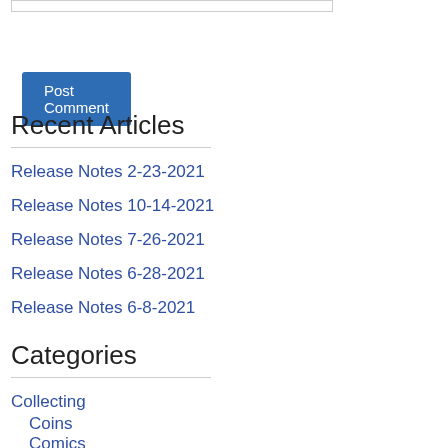[Figure (other): Input text box (partially visible at top)]
Post Comment
Recent Articles
Release Notes 2-23-2021
Release Notes 10-14-2021
Release Notes 7-26-2021
Release Notes 6-28-2021
Release Notes 6-8-2021
Categories
Collecting
Coins
Comics